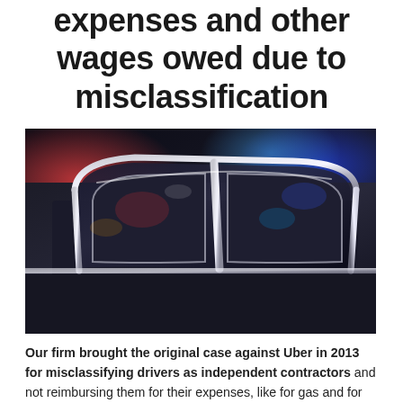expenses and other wages owed due to misclassification
[Figure (photo): Close-up photograph of the chrome window frame and door of a dark luxury sedan car, with colorful city lights reflected in the glass and chrome surfaces.]
Our firm brought the original case against Uber in 2013 for misclassifying drivers as independent contractors and not reimbursing them for their expenses, like for gas and for owning or leasing their vehicle, and not paying drivers' tips. We have litigated against Uber